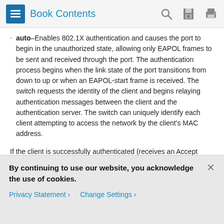Book Contents
auto–Enables 802.1X authentication and causes the port to begin in the unauthorized state, allowing only EAPOL frames to be sent and received through the port. The authentication process begins when the link state of the port transitions from down to up or when an EAPOL-start frame is received. The switch requests the identity of the client and begins relaying authentication messages between the client and the authentication server. The switch can uniquely identify each client attempting to access the network by the client's MAC address.
If the client is successfully authenticated (receives an Accept frame from the authentication server), the port state changes to authorized, and all frames from the authenticated client are allowed through the port. If authentication fails, the port
By continuing to use our website, you acknowledge the use of cookies.
Privacy Statement › Change Settings ›